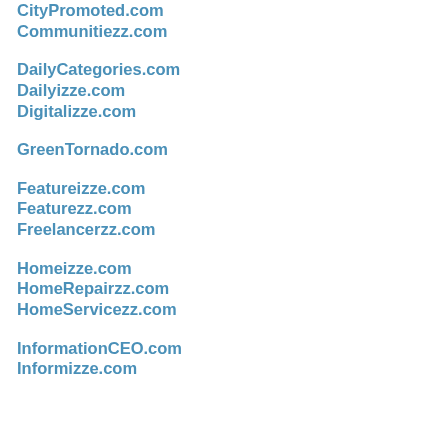CityPromoted.com
Communitiezz.com
DailyCategories.com
Dailyizze.com
Digitalizze.com
GreenTornado.com
Featureizze.com
Featurezz.com
Freelancerzz.com
Homeizze.com
HomeRepairzz.com
HomeServicezz.com
InformationCEO.com
Informizze.com